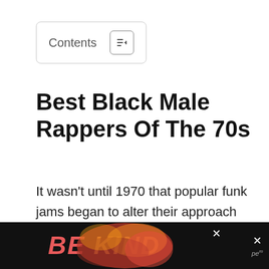Contents
Best Black Male Rappers Of The 70s
It wasn't until 1970 that popular funk jams began to alter their approach to music and deliver spoken words. This new style of imparting lyrics became known as rap, one of today's most popular music genres.
[Figure (other): Advertisement banner reading 'BE KIND' in red and yellow italic letters on a dark background with decorative floral imagery and close buttons]